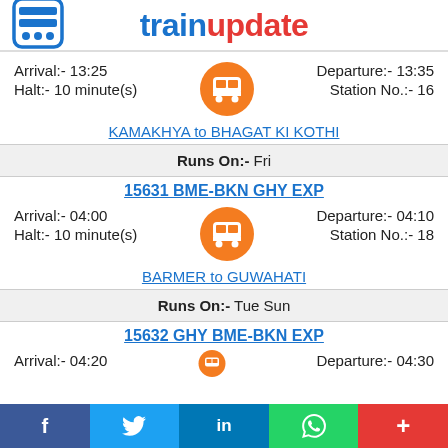trainupdate
Arrival:- 13:25   Halt:- 10 minute(s)   Departure:- 13:35   Station No.:- 16
KAMAKHYA to BHAGAT KI KOTHI
Runs On:- Fri
15631 BME-BKN GHY EXP
Arrival:- 04:00   Halt:- 10 minute(s)   Departure:- 04:10   Station No.:- 18
BARMER to GUWAHATI
Runs On:- Tue Sun
15632 GHY BME-BKN EXP
Arrival:- 04:20   Departure:- 04:30
f  twitter  in  whatsapp  +